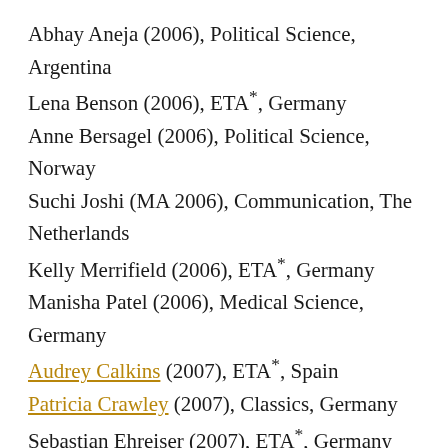Abhay Aneja (2006), Political Science, Argentina
Lena Benson (2006), ETA*, Germany
Anne Bersagel (2006), Political Science, Norway
Suchi Joshi (MA 2006), Communication, The Netherlands
Kelly Merrifield (2006), ETA*, Germany
Manisha Patel (2006), Medical Science, Germany
Audrey Calkins (2007), ETA*, Spain
Patricia Crawley (2007), Classics, Germany
Sebastian Ehreiser (2007), ETA*, Germany
Sarah Maveety (2007), Biology, Peru
Martina Muller (MA 2007), Biology, The Netherlands
Jennifer Nguyen (2007), ETA*, South Korea
Brooks Sterritt (2007), ETA*, Germany
L. David Willis (2007), ETA*, Argentina